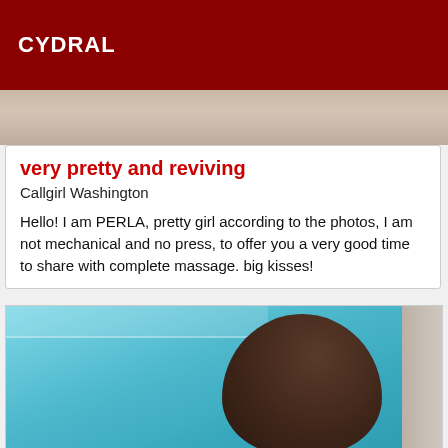CYDRAL
[Figure (photo): Top portion of a photo, blurred background showing light tones]
very pretty and reviving
Callgirl Washington
Hello! I am PERLA, pretty girl according to the photos, I am not mechanical and no press, to offer you a very good time to share with complete massage. big kisses!
[Figure (photo): Woman with long braided hair at a swimming pool, viewed from behind, wearing a bikini]